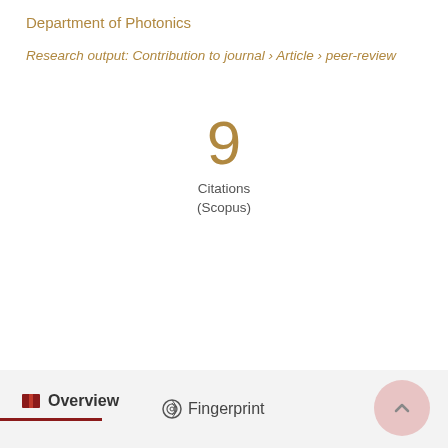Department of Photonics
Research output: Contribution to journal › Article › peer-review
9
Citations
(Scopus)
Overview   Fingerprint